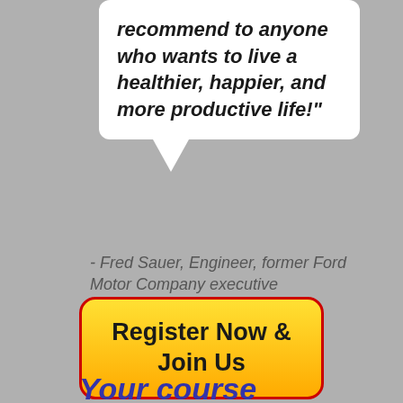recommend to anyone who wants to live a healthier, happier, and more productive life!"
- Fred Sauer, Engineer, former Ford Motor Company executive
Register Now & Join Us
Your course